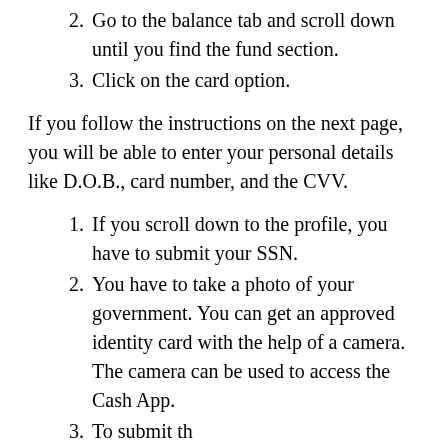2. Go to the balance tab and scroll down until you find the fund section.
3. Click on the card option.
If you follow the instructions on the next page, you will be able to enter your personal details like D.O.B., card number, and the CVV.
1. If you scroll down to the profile, you have to submit your SSN.
2. You have to take a photo of your government. You can get an approved identity card with the help of a camera. The camera can be used to access the Cash App.
3. To submit the ...